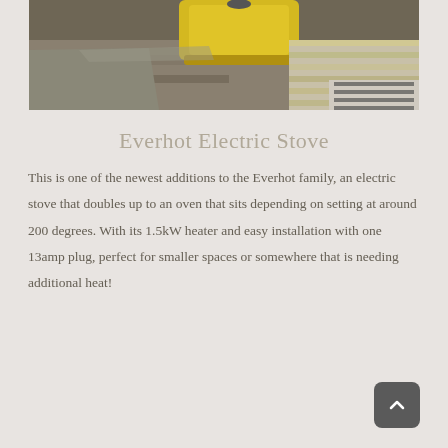[Figure (photo): Photo of an Everhot Electric Stove in yellow/mustard color sitting on a stone surface, with a knitted textile visible to the right]
Everhot Electric Stove
This is one of the newest additions to the Everhot family, an electric stove that doubles up to an oven that sits depending on setting at around 200 degrees. With its 1.5kW heater and easy installation with one 13amp plug, perfect for smaller spaces or somewhere that is needing additional heat!